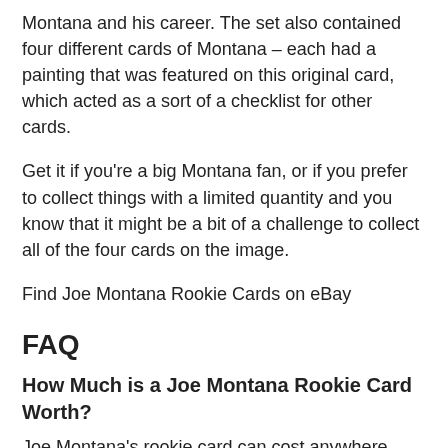Montana and his career. The set also contained four different cards of Montana – each had a painting that was featured on this original card, which acted as a sort of a checklist for other cards.
Get it if you're a big Montana fan, or if you prefer to collect things with a limited quantity and you know that it might be a bit of a challenge to collect all of the four cards on the image.
Find Joe Montana Rookie Cards on eBay
FAQ
How Much is a Joe Montana Rookie Card Worth?
Joe Montana's rookie card can cost anywhere between $1000 and up to $10.000 or even more, depending massively on the quality of the card in question. A PSA 10 will almost certainly be worth at